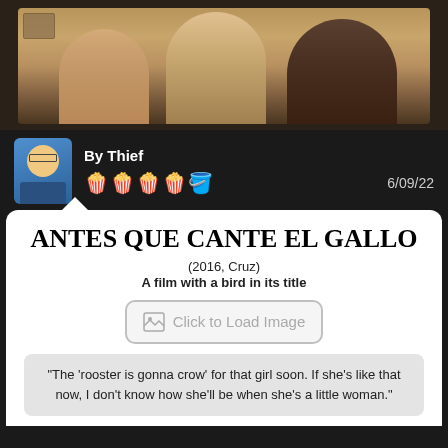[Figure (photo): Movie still showing three people seated, warm brownish tones, appears to be a scene from a film]
By Thief
[Figure (other): Rating: 4 out of 5 popcorn buckets (4 red popcorn emojis and 1 grey)]
6/09/22
ANTES QUE CANTE EL GALLO
(2016, Cruz)
A film with a bird in its title
[Figure (other): Click to Load Image button with image placeholder icon]
"The 'rooster is gonna crow' for that girl soon. If she's like that now, I don't know how she'll be when she's a little woman."